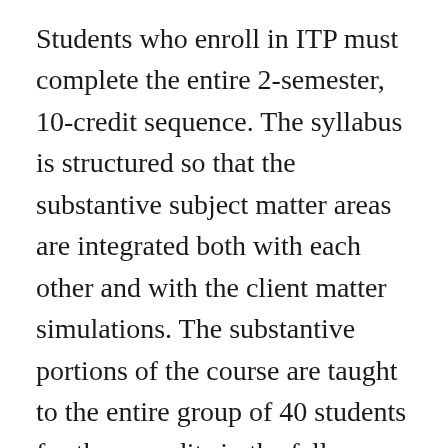Students who enroll in ITP must complete the entire 2-semester, 10-credit sequence. The syllabus is structured so that the substantive subject matter areas are integrated both with each other and with the client matter simulations. The substantive portions of the course are taught to the entire group of 40 students for three credits in the fall semester, when the emphasis is Trusts and Estates and Professional Responsibility issues related to the representation of individuals, and for three credits in the spring semester, when the emphasis is Professional Responsibility issues related to the representation of organizations and the use of trusts and other entities to achieve